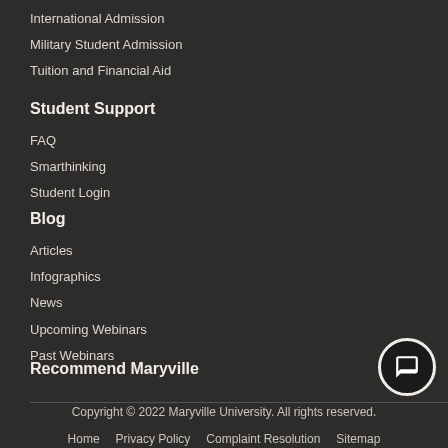International Admission
Military Student Admission
Tuition and Financial Aid
Student Support
FAQ
Smarthinking
Student Login
Blog
Articles
Infographics
News
Upcoming Webinars
Past Webinars
Recommend Maryville
Copyright © 2022 Maryville University. All rights reserved.
Home   Privacy Policy   Complaint Resolution   Sitemap